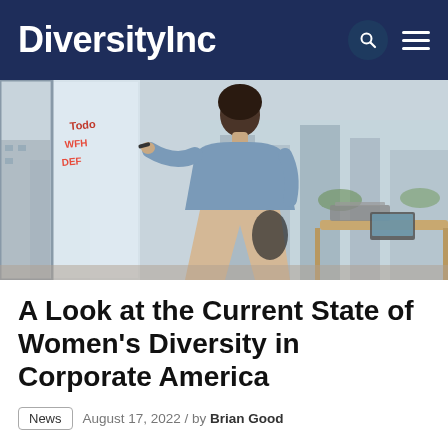DiversityInc
[Figure (photo): A woman with curly hair wearing a light blue shirt and beige pants stands writing on a whiteboard in a modern office with floor-to-ceiling windows overlooking a city skyline.]
A Look at the Current State of Women's Diversity in Corporate America
News  August 17, 2022 / by Brian Good